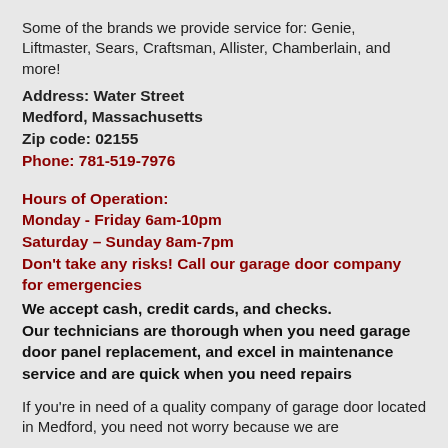Some of the brands we provide service for: Genie, Liftmaster, Sears, Craftsman, Allister, Chamberlain, and more!
Address: Water Street
Medford, Massachusetts
Zip code: 02155
Phone: 781-519-7976
Hours of Operation:
Monday - Friday 6am-10pm
Saturday – Sunday 8am-7pm
Don't take any risks! Call our garage door company for emergencies
We accept cash, credit cards, and checks.
Our technicians are thorough when you need garage door panel replacement, and excel in maintenance service and are quick when you need repairs
If you're in need of a quality company of garage door located in Medford, you need not worry because we are